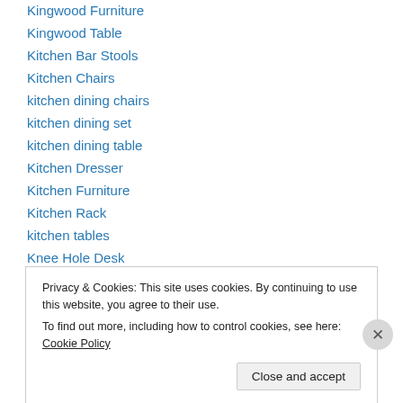Kingwood Furniture
Kingwood Table
Kitchen Bar Stools
Kitchen Chairs
kitchen dining chairs
kitchen dining set
kitchen dining table
Kitchen Dresser
Kitchen Furniture
Kitchen Rack
kitchen tables
Knee Hole Desk
Lacquer Arm Chair
Lacquer Bookcase
Privacy & Cookies: This site uses cookies. By continuing to use this website, you agree to their use.
To find out more, including how to control cookies, see here: Cookie Policy
Close and accept